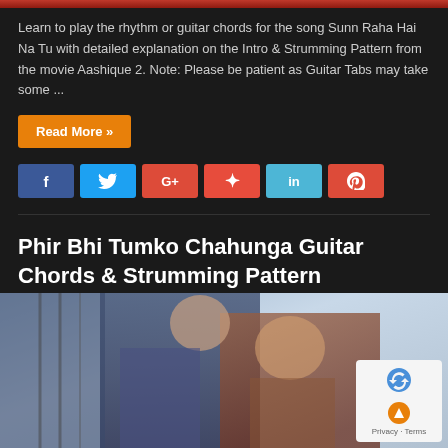[Figure (photo): Cropped top portion of a movie/music promotional image in red tones]
Learn to play the rhythm or guitar chords for the song Sunn Raha Hai Na Tu with detailed explanation on the Intro & Strumming Pattern from the movie Aashique 2. Note: Please be patient as Guitar Tabs may take some ...
Read More »
[Figure (infographic): Social share buttons: Facebook, Twitter, Google+, StumbleUpon, LinkedIn, Pinterest]
Phir Bhi Tumko Chahunga Guitar Chords & Strumming Pattern
June 19, 2017   Easy, Guitar Tab & Chord, Hindi   Comments Off
[Figure (photo): Bollywood movie promotional photo showing a couple in a romantic pose, man in checkered shirt and woman with flowing hair, against a sky background]